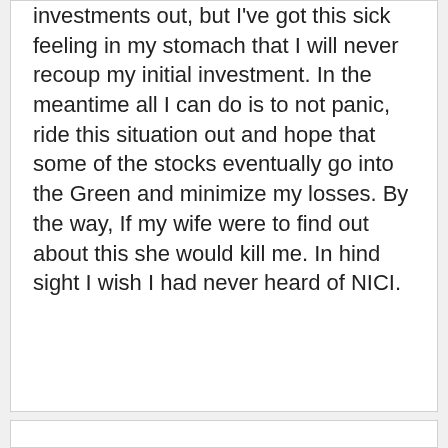investments out, but I've got this sick feeling in my stomach that I will never recoup my initial investment. In the meantime all I can do is to not panic, ride this situation out and hope that some of the stocks eventually go into the Green and minimize my losses. By the way, If my wife were to find out about this she would kill me. In hind sight I wish I had never heard of NICI.
Reply